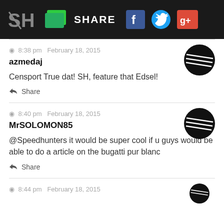SH SHARE [Facebook] [Twitter] [Google+]
8:38 pm  February 18, 2015
azmedaj
Censport True dat! SH, feature that Edsel!
Share
8:40 pm  February 18, 2015
MrSOLOMON85
@Speedhunters it would be super cool if u guys would be able to do a article on the bugatti pur blanc
Share
8:44 pm  February 18, 2015